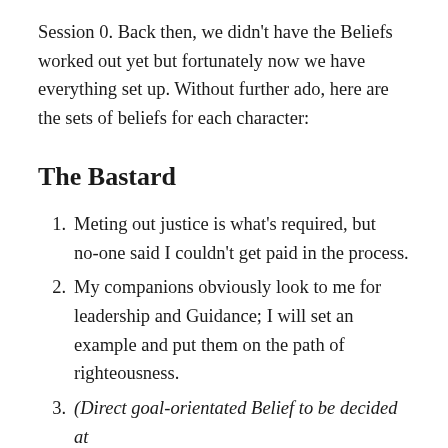Session 0. Back then, we didn't have the Beliefs worked out yet but fortunately now we have everything set up. Without further ado, here are the sets of beliefs for each character:
The Bastard
Meting out justice is what's required, but no-one said I couldn't get paid in the process.
My companions obviously look to me for leadership and Guidance; I will set an example and put them on the path of righteousness.
(Direct goal-orientated Belief to be decided at